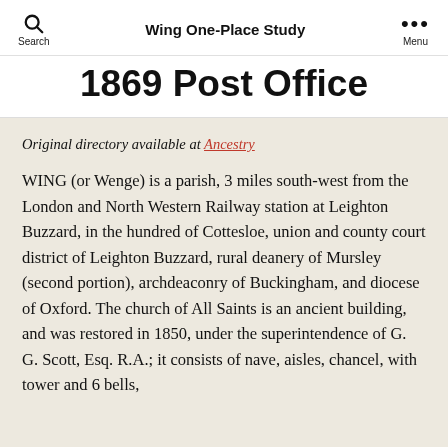Wing One-Place Study
1869 Post Office
Original directory available at Ancestry
WING (or Wenge) is a parish, 3 miles south-west from the London and North Western Railway station at Leighton Buzzard, in the hundred of Cottesloe, union and county court district of Leighton Buzzard, rural deanery of Mursley (second portion), archdeaconry of Buckingham, and diocese of Oxford. The church of All Saints is an ancient building, and was restored in 1850, under the superintendence of G. G. Scott, Esq. R.A.; it consists of nave, aisles, chancel, with tower and 6 bells,